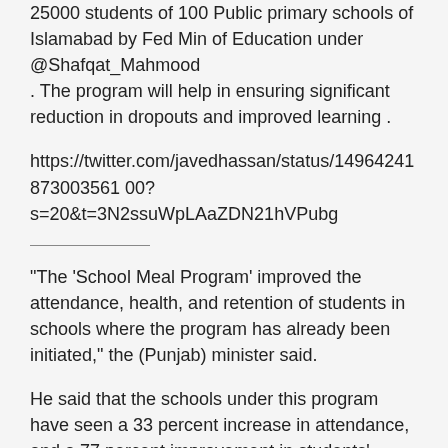25000 students of 100 Public primary schools of Islamabad by Fed Min of Education under @Shafqat_Mahmood
. The program will help in ensuring significant reduction in dropouts and improved learning .
https://twitter.com/javedhassan/status/1496424187300356100?
s=20&t=3N2ssuWpLAaZDN21hVPubg
“The ‘School Meal Program’ improved the attendance, health, and retention of students in schools where the program has already been initiated,” the (Punjab) minister said.
He said that the schools under this program have seen a 33 percent increase in attendance, and a 77 percent improvement in students’ health, and their BMI levels.
https://propakistani.pk/2022/02/04/punjab-govt-launches-free-lunch-program-for-school-students/